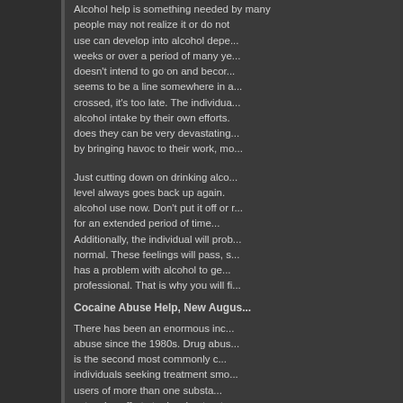Alcohol help is something needed by many people. Some people may not realize it or do not want to admit it. Alcohol use can develop into alcohol dependence in just a few weeks or over a period of many years. Usually an individual doesn't intend to go on and become alcohol dependent. There seems to be a line somewhere in a person's use and once it's crossed, it's too late. The individual can no longer control their alcohol intake by their own efforts. Whatever effects alcohol does they can be very devastating to the individual and family by bringing havoc to their work, mo...
Just cutting down on drinking alcohol is hard because the level always goes back up again. You need to stop your alcohol use now. Don't put it off or drink at a reduced level for an extended period of time. That won't get it done. Additionally, the individual will probably feel depressed and not normal. These feelings will pass, s... It is crucial for one who has a problem with alcohol to get the assistance of a professional. That is why you will fi...
Cocaine Abuse Help, New Augus...
There has been an enormous increase in cocaine abuse since the 1980s. Drug abuse... is the second most commonly c... individuals seeking treatment smo... users of more than one substa... extensive efforts to develop treatm... abuse is a complex problem invol... social, familial, and environmental ... must address a variety of problem... to assess the psychobiological, soc... abuse.
Attempts to stop using cocaine o... overwhelming, causing the individ... depression. This overpowering effe... to do anything to get cocaine. Duri...